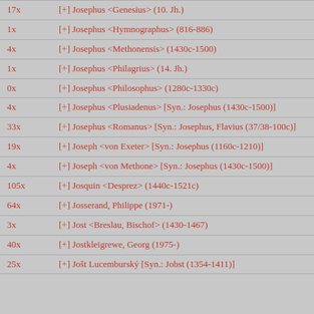| Count | Entry |
| --- | --- |
| 17x | [+] Josephus <Genesius> (10. Jh.) |
| 1x | [+] Josephus <Hymnographus> (816-886) |
| 4x | [+] Josephus <Methonensis> (1430c-1500) |
| 1x | [+] Josephus <Philagrius> (14. Jh.) |
| 0x | [+] Josephus <Philosophus> (1280c-1330c) |
| 4x | [+] Josephus <Plusiadenus> [Syn.: Josephus (1430c-1500)] |
| 33x | [+] Josephus <Romanus> [Syn.: Josephus, Flavius (37/38-100c)] |
| 19x | [+] Joseph <von Exeter> [Syn.: Josephus (1160c-1210)] |
| 4x | [+] Joseph <von Methone> [Syn.: Josephus (1430c-1500)] |
| 105x | [+] Josquin <Desprez> (1440c-1521c) |
| 64x | [+] Josserand, Philippe (1971-) |
| 3x | [+] Jost <Breslau, Bischof> (1430-1467) |
| 40x | [+] Jostkleigrewe, Georg (1975-) |
| 25x | [+] Jošt Lucemburský [Syn.: Jobst (1354-1411)] |